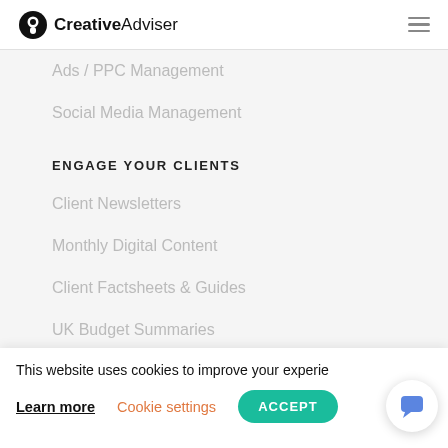[Figure (logo): Creative Adviser logo with circular icon and bold/regular text]
Ads / PPC Management
Social Media Management
ENGAGE YOUR CLIENTS
Client Newsletters
Monthly Digital Content
Client Factsheets & Guides
UK Budget Summaries
This website uses cookies to improve your experie
Learn more   Cookie settings   ACCEPT